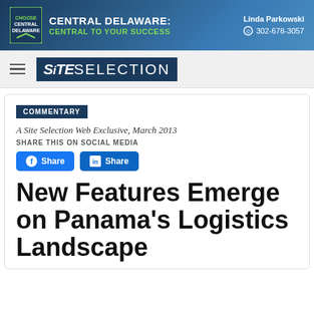CENTRAL DELAWARE: CENTRAL TO YOUR SUCCESS | Linda Parkowski | 302-678-3057
SITE SELECTION
COMMENTARY
A Site Selection Web Exclusive, March 2013
SHARE THIS ON SOCIAL MEDIA
New Features Emerge on Panama's Logistics Landscape